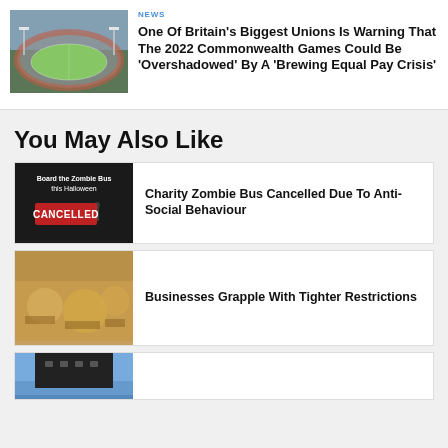[Figure (photo): Aerial view of a large sports stadium with green pitch and running track, floodlights visible]
NEWS
One Of Britain's Biggest Unions Is Warning That The 2022 Commonwealth Games Could Be 'Overshadowed' By A 'Brewing Equal Pay Crisis'
You May Also Like
[Figure (photo): Dark image with text 'Board the Zombie Bus this Halloween' and a red CANCELLED stamp overlay]
Charity Zombie Bus Cancelled Due To Anti-Social Behaviour
[Figure (photo): Blurred interior of a busy pub or restaurant with warm lighting]
Businesses Grapple With Tighter Restrictions
[Figure (photo): Building exterior against blue sky, partially visible]